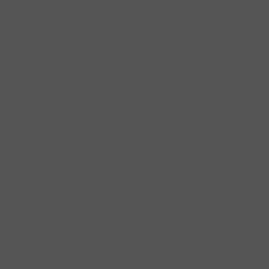Further big announcements
07/05/2021
[Figure (illustration): Illustrated poster with text 'MAN... FOR M...' in large bold lettering over a dark background with a drawing of Big Ben and Parliament in a sketchy, artistic style, framed with a blue border.]